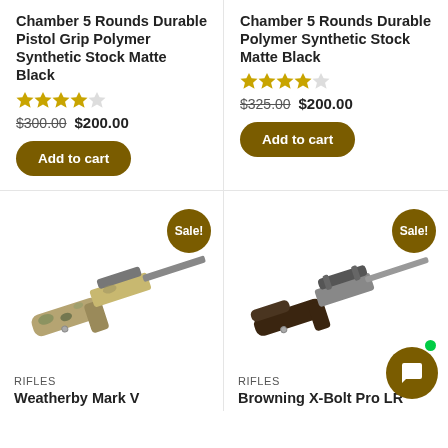Chamber 5 Rounds Durable Pistol Grip Polymer Synthetic Stock Matte Black
★★★★☆ $300.00 $200.00
Add to cart
Chamber 5 Rounds Durable Polymer Synthetic Stock Matte Black
★★★★☆ $325.00 $200.00
Add to cart
[Figure (photo): Weatherby Mark V rifle with camouflage pattern stock, diagonal orientation, with Sale! badge]
[Figure (photo): Browning X-Bolt Pro LR rifle with dark wood stock, diagonal orientation, with Sale! badge]
RIFLES
Weatherby Mark V
RIFLES
Browning X-Bolt Pro LR